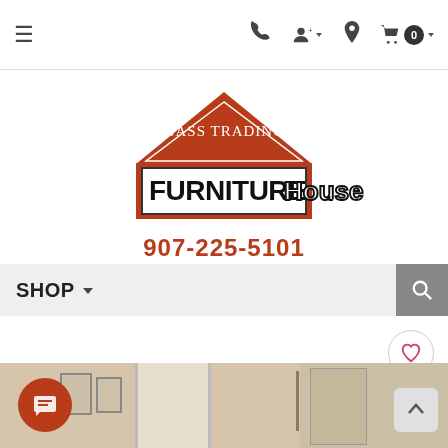[Figure (screenshot): Top navigation bar with hamburger menu, phone icon, account icon, location icon, and shopping cart with badge showing 0]
[Figure (logo): Tongass Trading Co. Furniture House logo — dark red triangle roof above a bordered rectangle containing bold black FURNITURE and outlined House text]
907-225-5101
[Figure (screenshot): Shop navigation bar with SHOP dropdown label and search icon button on right]
[Figure (screenshot): Product area with heart/wishlist button, chat button, scroll-to-top button, and partial room/furniture photo at bottom]